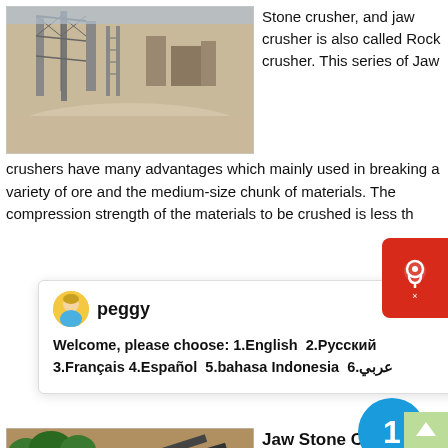[Figure (photo): Industrial stone crusher facility with metal scaffolding and dusty ground]
Stone crusher, and jaw crusher is also called Rock crusher. This series of Jaw crushers have many advantages which mainly used in breaking a variety of ore and the medium-size chunk of materials. The compression strength of the materials to be crushed is less th
[Figure (screenshot): Chat popup with avatar of agent named peggy, welcome message with language options: 1.English 2.Русский 3.Français 4.Español 5.bahasa Indonesia 6.عربي]
[Figure (photo): Mobile jaw stone crusher equipment in outdoor mining site with orange dirt background]
Jaw Stone Crusher Wi
2020 Top Quality mobile Jaw stone Crusher with diesel engine, US $ 2200 6000 / Set, Energy Mining, None, None.Source from Zhengzhou Huahong Machinery Equipment Co., Ltd. on Alibaba.